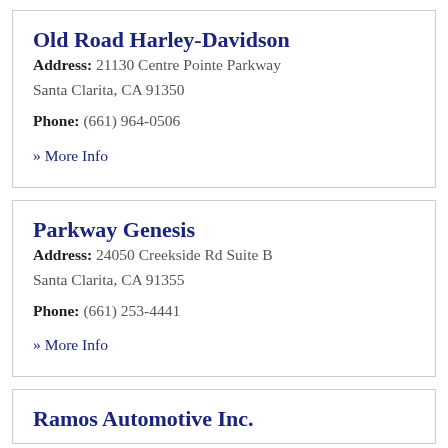Old Road Harley-Davidson
Address: 21130 Centre Pointe Parkway Santa Clarita, CA 91350
Phone: (661) 964-0506
» More Info
Parkway Genesis
Address: 24050 Creekside Rd Suite B Santa Clarita, CA 91355
Phone: (661) 253-4441
» More Info
Ramos Automotive Inc.